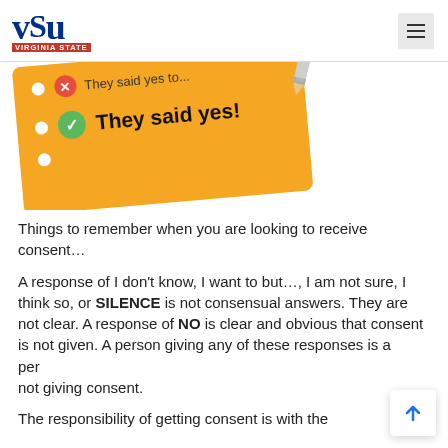VSU VIRGINIA STATE
[Figure (illustration): Orange card illustration tilted slightly with a red X circle showing 'They said yes to...' (struck through/partially visible) and a green checkmark circle showing 'They said yes!' in bold, with bullet dots on the left side and a pencil in the top right corner.]
Things to remember when you are looking to receive consent…
A response of I don't know, I want to but…, I am not sure, I think so, or SILENCE is not consensual answers. They are not clear. A response of NO is clear and obvious that consent is not given. A person giving any of these responses is a person not giving consent.
The responsibility of getting consent is with the